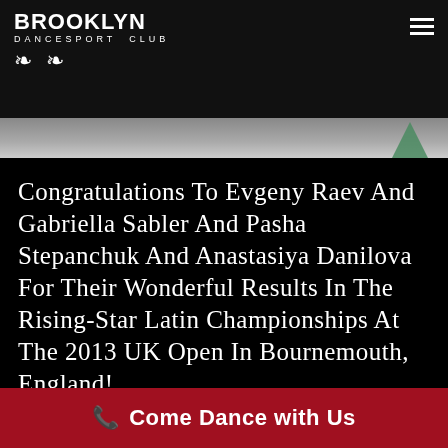BROOKLYN DANCESPORT CLUB
Congratulations to Evgeny Raev and Gabriella Sabler and Pasha Stepanchuk and Anastasiya Danilova for their wonderful results in the Rising-Star Latin Championships at the 2013 UK Open in Bournemouth, England!
After wonderful results at the WDC Latin World Championships for Pasha and Anastasiya and Evgeny and
Come Dance with Us